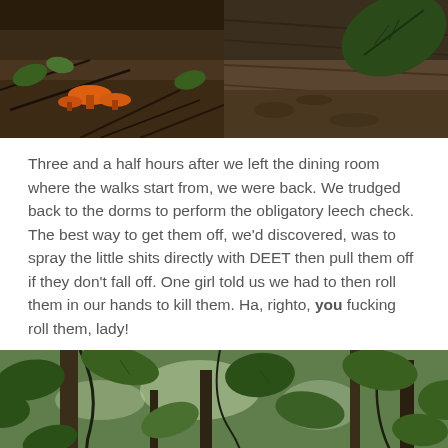[Figure (photo): Two side-by-side forest floor photos: left shows orange mushrooms/fungi among dark twigs and green leaves; right shows a muddy ground/bark texture with a large leaf.]
Three and a half hours after we left the dining room where the walks start from, we were back. We trudged back to the dorms to perform the obligatory leech check. The best way to get them off, we'd discovered, was to spray the little shits directly with DEET then pull them off if they don't fall off. One girl told us we had to then roll them in our hands to kill them. Ha, righto, you fucking roll them, lady!
[Figure (photo): A rainforest canopy photo looking upward through dense green tropical foliage, vines, and tree trunks.]